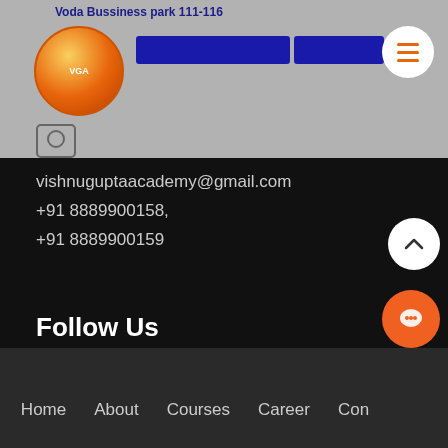[Figure (screenshot): Website header with VGA logo, Hindi text, address partial (001), hamburger menu button, and camera icon overlay]
vishnuguptaacademy@gmail.com
+91 8889900158,
+91 8889900159
Follow Us
[Figure (illustration): Social media icons row: Facebook, Twitter, Google+, YouTube, Instagram]
[Figure (illustration): Scroll-up arrow button (white circle with up caret) and orange chat button (circle with chat icon)]
Home   About   Courses   Career   Con...